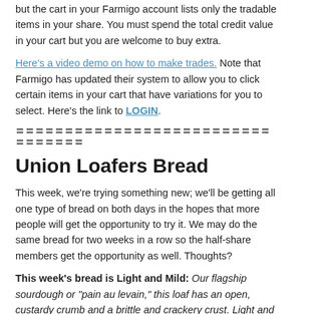but the cart in your Farmigo account lists only the tradable items in your share. You must spend the total credit value in your cart but you are welcome to buy extra.
Here's a video demo on how to make trades. Note that Farmigo has updated their system to allow you to click certain items in your cart that have variations for you to select. Here's the link to LOGIN.
〓〓〓〓〓〓〓〓〓〓〓〓〓〓〓〓〓〓〓〓〓〓〓〓〓〓〓〓〓〓〓〓〓
Union Loafers Bread
This week, we're trying something new; we'll be getting all one type of bread on both days in the hopes that more people will get the opportunity to try it. We may do the same bread for two weeks in a row so the half-share members get the opportunity as well. Thoughts?
This week's bread is Light and Mild: Our flagship sourdough or "pain au levain," this loaf has an open, custardy crumb and a brittle and crackery crust. Light and mild features a mild sourness and creamy, sweet wheat flavors. Unsliced.